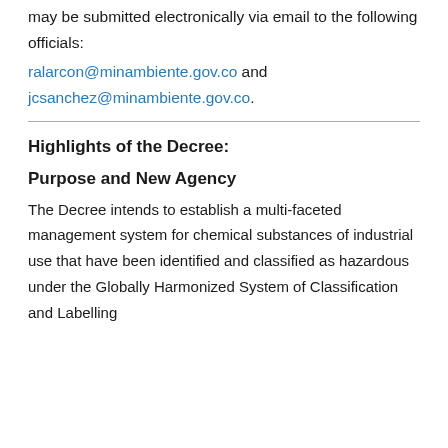may be submitted electronically via email to the following officials:
ralarcon@minambiente.gov.co and jcsanchez@minambiente.gov.co.
Highlights of the Decree:
Purpose and New Agency
The Decree intends to establish a multi-faceted management system for chemical substances of industrial use that have been identified and classified as hazardous under the Globally Harmonized System of Classification and Labelling